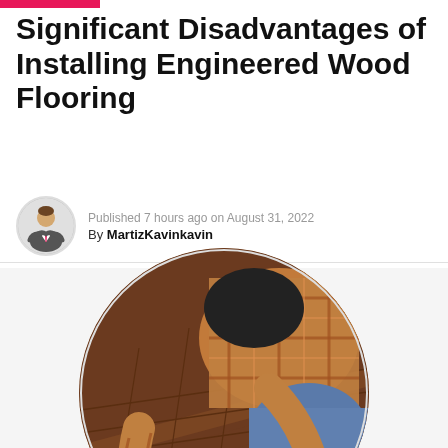Significant Disadvantages of Installing Engineered Wood Flooring
Published 7 hours ago on August 31, 2022
By MartizKavinkavin
[Figure (photo): A person wearing work gloves and a plaid shirt kneeling on engineered wood flooring, using a scraper tool on the wooden planks. Circular crop.]